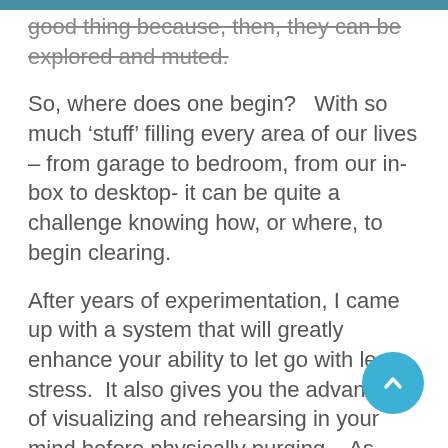good thing because, then, they can be explored and muted.
So, where does one begin?   With so much ‘stuff’ filling every area of our lives – from garage to bedroom, from our in-box to desktop- it can be quite a challenge knowing how, or where, to begin clearing.
After years of experimentation, I came up with a system that will greatly enhance your ability to let go with less stress.  It also gives you the advantage of visualizing and rehearsing in your mind before physically purging.   As Albert Einstein said, “Imagination